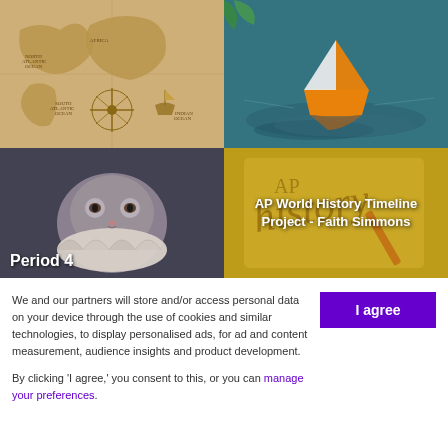[Figure (photo): Antique world map with compass rose and ship illustration]
[Figure (photo): Orange origami paper boat floating on water]
[Figure (photo): Grey Persian cat wearing a ruffled collar with text 'Period 4']
[Figure (photo): History book background with text 'AP World History Timeline Project - Faith Simmons']
We and our partners will store and/or access personal data on your device through the use of cookies and similar technologies, to display personalised ads, for ad and content measurement, audience insights and product development.
By clicking 'I agree,' you consent to this, or you can manage your preferences.